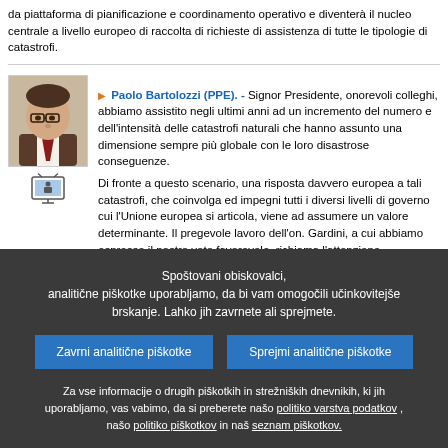da piattaforma di pianificazione e coordinamento operativo e diventerà il nucleo centrale a livello europeo di raccolta di richieste di assistenza di tutte le tipologie di catastrofi.
Paolo Bartolozzi (PPE). - Signor Presidente, onorevoli colleghi, abbiamo assistito negli ultimi anni ad un incremento del numero e dell'intensità delle catastrofi naturali che hanno assunto una dimensione sempre più globale con le loro disastrose conseguenze.
Di fronte a questo scenario, una risposta davvero europea a tali catastrofi, che coinvolga ed impegni tutti i diversi livelli di governo cui l'Unione europea si articola, viene ad assumere un valore determinante. Il pregevole lavoro dell'on. Gardini, a cui abbiamo espresso il nostro voto favorevole, richiama l'attenzione sull'importanza di un meccanismo di protezione civile semplificato e razionalizzato, che sia maggiormente e più efficacemente coord...
Spoštovani obiskovalci, analitične piškotke uporabljamo, da bi vam omogočili učinkovitejše brskanje. Lahko jih zavrnete ali sprejmete.
Zavrni analitične piškotke
Sprejmi analitične piškotke
Za vse informacije o drugih piškotkih in strežniških dnevnikih, ki jih uporabljamo, vas vabimo, da si preberete našo politiko varstva podatkov , našo politiko piškotkov in naš seznam piškotkov.